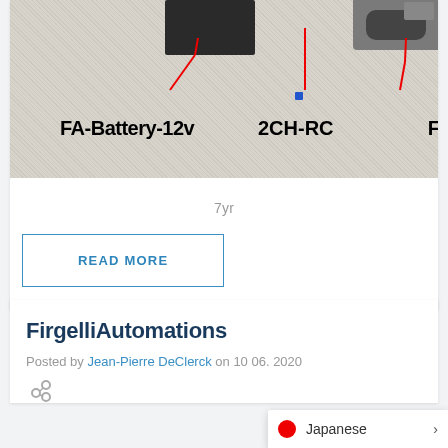[Figure (photo): Photo of electronic components on a carpet: a 12V battery pack labeled FA-Battery-12v, a 2CH-RC module labeled 2CH-RC, and a partially visible component labeled F, with red annotation arrows pointing to each.]
7yr
READ MORE
FirgelliAutomations
Posted by Jean-Pierre DeClerck on 10  06. 2020
[Figure (illustration): Share/social icon (network-style circle and lines icon)]
Japanese